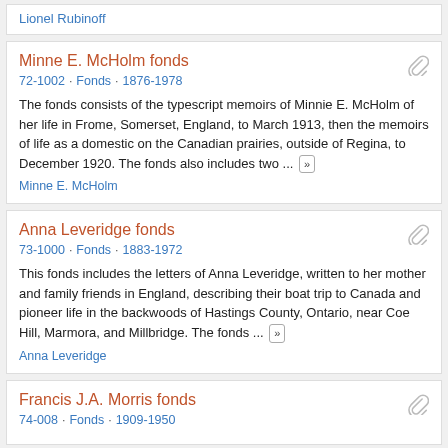Lionel Rubinoff
Minne E. McHolm fonds
72-1002 · Fonds · 1876-1978
The fonds consists of the typescript memoirs of Minnie E. McHolm of her life in Frome, Somerset, England, to March 1913, then the memoirs of life as a domestic on the Canadian prairies, outside of Regina, to December 1920. The fonds also includes two ...
Minne E. McHolm
Anna Leveridge fonds
73-1000 · Fonds · 1883-1972
This fonds includes the letters of Anna Leveridge, written to her mother and family friends in England, describing their boat trip to Canada and pioneer life in the backwoods of Hastings County, Ontario, near Coe Hill, Marmora, and Millbridge. The fonds ...
Anna Leveridge
Francis J.A. Morris fonds
74-008 · Fonds · 1909-1950